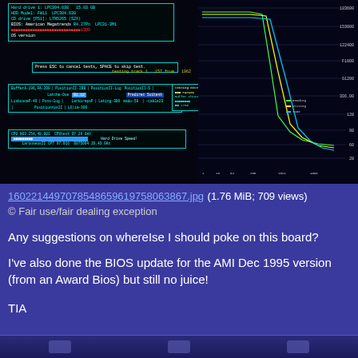[Figure (screenshot): A photograph of a computer monitor displaying a BIOS/diagnostic screen. The left portion shows several cyan-bordered panels with system information including hard drive, CD drive, BIOS (American Megatrends), and OS version details, with some red text. There is a 'Press ESC to cancel tests, SPACE to skip test.' message. The right portion shows a graph/chart with colored lines (green, yellow, blue) plotting some diagnostic data against axes.]
1602214497078548659619758063867.jpg (1.76 MiB; 709 views)
© Fair use/fair dealing exception
Any suggestions on whereIse I should poke on this board?
I've also done the BIOS update for the AMI Dec 1995 version (from an Award Bios) but still no juice!
TIA